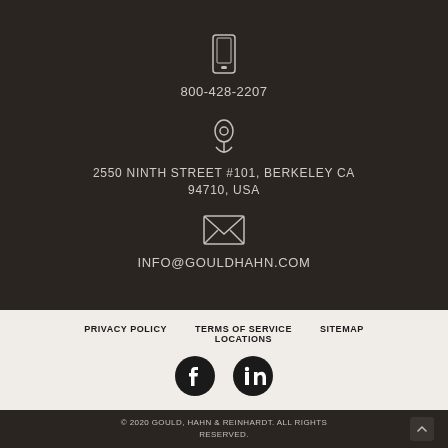800-428-2207
2550 NINTH STREET #101, BERKELEY CA 94710, USA
INFO@GOULDHAHN.COM
PRIVACY POLICY   TERMS OF SERVICE LOCATIONS   SITEMAP
[Figure (other): Facebook and LinkedIn social media icons]
© 2020 GOULD, HAHN & REINHARDT. ALL RIGHTS RESERVED.